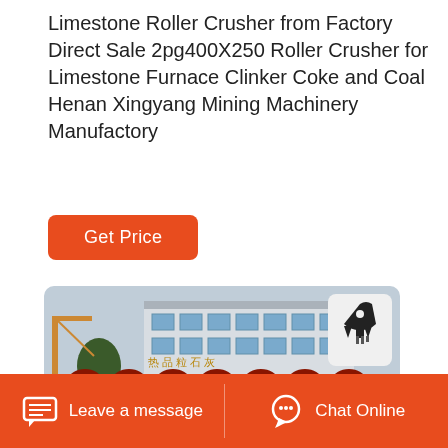Limestone Roller Crusher from Factory Direct Sale 2pg400X250 Roller Crusher for Limestone Furnace Clinker Coke and Coal Henan Xingyang Mining Machinery Manufactory
Get Price
[Figure (photo): Photo of a large red roller crusher machine (2pg400X250) outdoors in front of a factory building. The machine has multiple orange-red roller assemblies on top and a rectangular body.]
Leave a message
Chat Online